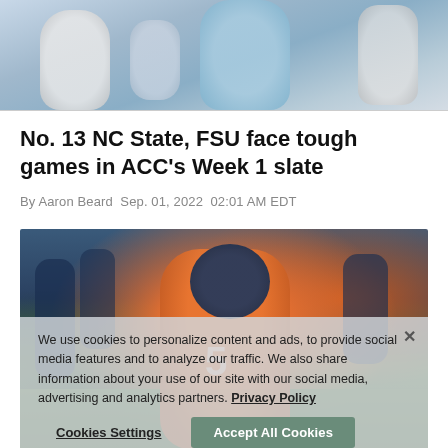[Figure (photo): Partial top photo of football players, showing players in light blue and white uniforms]
No. 13 NC State, FSU face tough games in ACC's Week 1 slate
By Aaron Beard Sep. 01, 2022 02:01 AM EDT
[Figure (photo): Football player wearing orange jersey number 5 and navy helmet holding a football during practice, with cookie consent overlay]
We use cookies to personalize content and ads, to provide social media features and to analyze our traffic. We also share information about your use of our site with our social media, advertising and analytics partners. Privacy Policy
Cookies Settings    Accept All Cookies